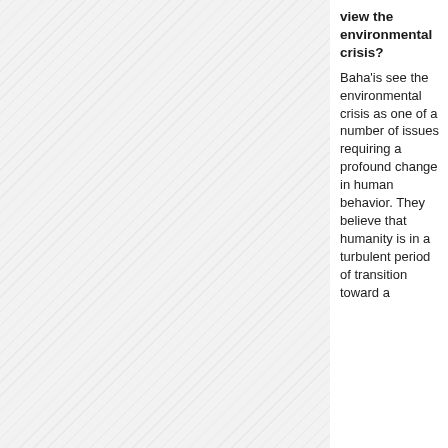[Figure (illustration): Hatched/diagonal-line patterned background panel on the left side of the page, grey diagonal stripes pattern.]
view the environmental crisis?
Baha'is see the environmental crisis as one of a number of issues requiring a profound change in human behavior. They believe that humanity is in a turbulent period of transition toward a